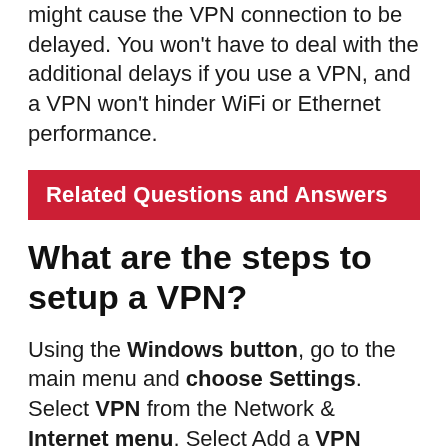might cause the VPN connection to be delayed. You won't have to deal with the additional delays if you use a VPN, and a VPN won't hinder WiFi or Ethernet performance.
Related Questions and Answers
What are the steps to setup a VPN?
Using the Windows button, go to the main menu and choose Settings. Select VPN from the Network & Internet menu. Select Add a VPN connection to create your profile, which includes a VPN connection name, server